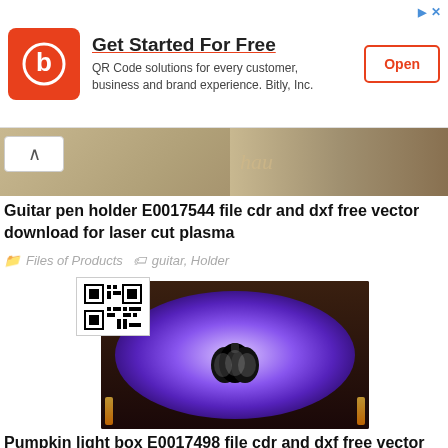[Figure (infographic): Bitly ad banner: orange logo with 'b' letter, title 'Get Started For Free', subtitle 'QR Code solutions for every customer, business and brand experience. Bitly, Inc.', Open button with orange border]
[Figure (photo): Partial photo of guitar pen holder product on wooden surface]
Guitar pen holder E0017544 file cdr and dxf free vector download for laser cut plasma
Files of Products   guitar, Holder
[Figure (photo): Pumpkin light box with purple glowing illuminated design in dark frame, QR code overlay in top left]
Pumpkin light box E0017498 file cdr and dxf free vector